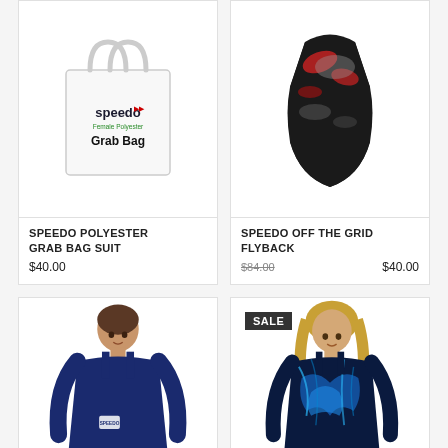[Figure (photo): Speedo Polyester Grab Bag — white shopping bag with Speedo logo and 'Grab Bag' text]
[Figure (photo): Speedo Off The Grid Flyback one-piece swimsuit in black, red, and grey abstract pattern]
SPEEDO POLYESTER GRAB BAG SUIT
$40.00
SPEEDO OFF THE GRID FLYBACK
$84.00  $40.00
[Figure (photo): Woman wearing navy blue Speedo one-piece training swimsuit]
[Figure (photo): Woman wearing blue and black abstract print Speedo one-piece swimsuit with SALE badge]